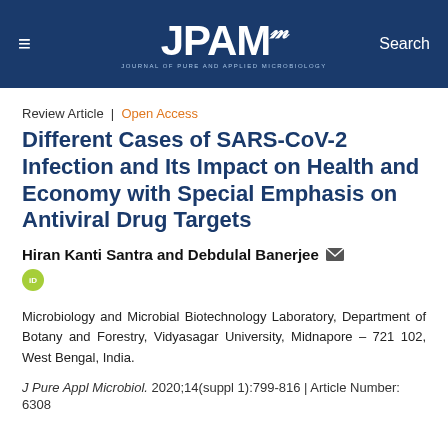JPAM — Journal of Pure and Applied Microbiology | Search
Review Article | Open Access
Different Cases of SARS-CoV-2 Infection and Its Impact on Health and Economy with Special Emphasis on Antiviral Drug Targets
Hiran Kanti Santra and Debdulal Banerjee
iD
Microbiology and Microbial Biotechnology Laboratory, Department of Botany and Forestry, Vidyasagar University, Midnapore – 721 102, West Bengal, India.
J Pure Appl Microbiol. 2020;14(suppl 1):799-816 | Article Number: 6308